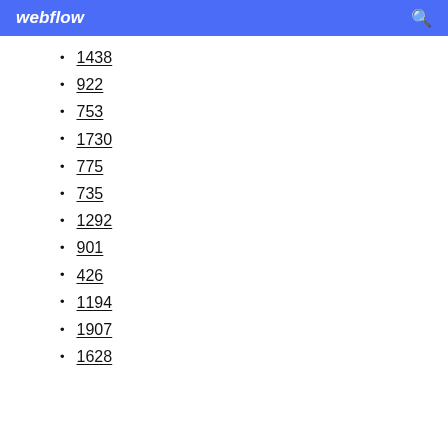webflow
1438
922
753
1730
775
735
1292
901
426
1194
1907
1628